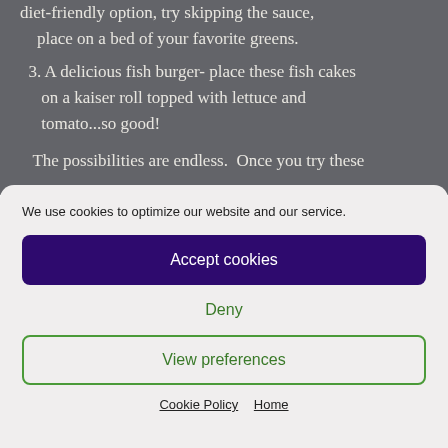diet-friendly option, try skipping the sauce, place on a bed of your favorite greens.
3. A delicious fish burger- place these fish cakes on a kaiser roll topped with lettuce and tomato...so good!
The possibilities are endless.  Once you try these
We use cookies to optimize our website and our service.
Accept cookies
Deny
View preferences
Cookie Policy   Home